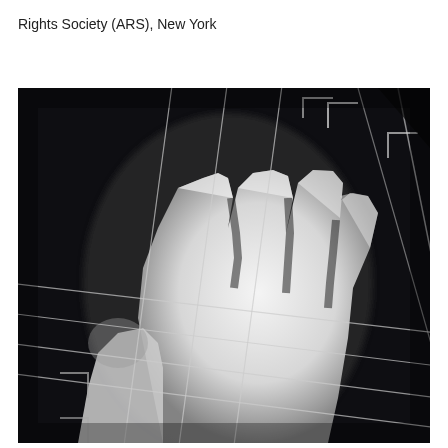Rights Society (ARS), New York
[Figure (photo): Black and white photogram or X-ray-style image of a human hand with fingers spread, overlaid with geometric grid lines and diagonal lines against a dark background. The hand appears luminous white against the black background, with the grid lines crossing over it creating an abstract geometric composition.]